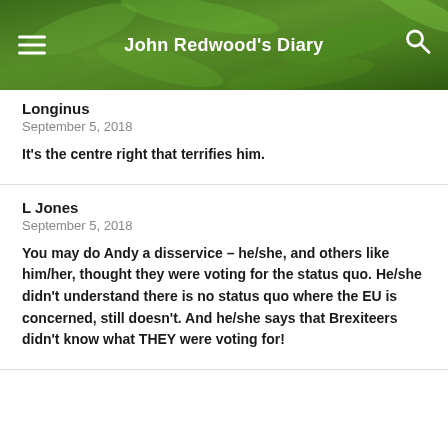John Redwood's Diary
Longinus
September 5, 2018
It's the centre right that terrifies him.
L Jones
September 5, 2018
You may do Andy a disservice – he/she, and others like him/her, thought they were voting for the status quo. He/she didn't understand there is no status quo where the EU is concerned, still doesn't. And he/she says that Brexiteers didn't know what THEY were voting for!